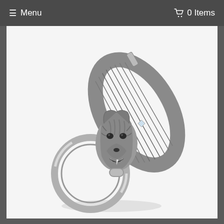≡ Menu   🛒 0 Items
[Figure (photo): A silver metal wolf head keychain clip. The decorative carabiner-style clasp features a detailed wolf head with open mouth at the bottom, with a large silver key ring attached below. The body of the clip has textured ridged lines. The item is photographed on a white background.]